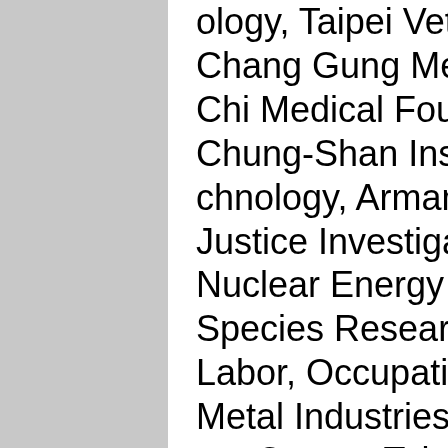ology, Taipei Veterans General Hospital, Chang Gung Medical Foundation, Tzu Chi Medical Foundation, E-Da Hospital, Chung-Shan Institute of Science and Technology, Armaments Bureau, Ministry of Justice Investigation Bureau, Institute of Nuclear Energy Research, Endemic Species Research Institute, Institute of Labor, Occupational Safety And Health, Metal Industries Research & Development Centre, Taiwan Instrument Research Institute, Automotive Research & Testing Center, Taiwan Water Corporation, Taiwan Semiconductor Manufacturing Co., Ltd., United Microelectronics Corp., Nanya Technology, Winbond Electronics Corp., Xintec Inc., Arima Lasers Corporation, AU Optronics Corporation, Innolux Corporation, HannStar Display Corporation, Formosa Plastics Group., Formosa Technologies Corporation, Nan Ya Plastics Corp., Formosa Chemicals & Fibre Corporation, Chinoso Petroleum Corpor